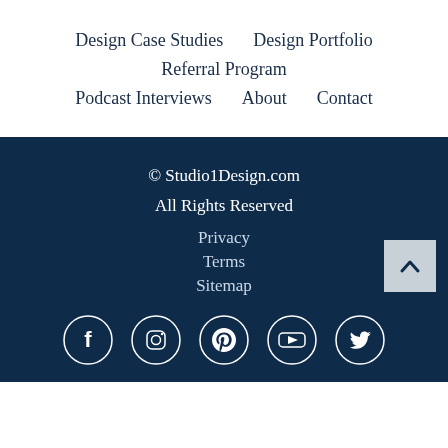Design Case Studies
Design Portfolio
Referral Program
Podcast Interviews
About
Contact
© Studio1Design.com
All Rights Reserved
Privacy
Terms
Sitemap
[Figure (other): Social media icons: Facebook, Instagram, Pinterest, YouTube, Twitter — white circle outlines on dark navy background]